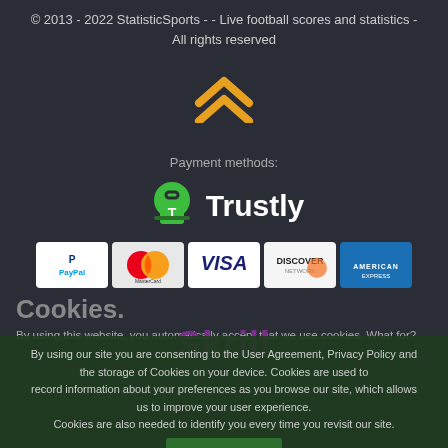© 2013 - 2022 StatisticSports - - Live football scores and statistics - All rights reserved
[Figure (illustration): Orange double chevron/arrow pointing upward]
Payment methods:
[Figure (logo): Trustly logo - green shopping bag with T icon and white Trustly text]
[Figure (logo): Payment method logos row: PayPal, MasterCard, VISA, Discover, American Express]
[Figure (logo): Skrill logo in purple]
Cookies.
By using this website, you automatically accept that we use cookies. What for?
By using our site you are consenting to the User Agreement, Privacy Policy and the storage of Cookies on your device. Cookies are used to record information about your preferences as you browse our site, which allows us to improve your user experience. Cookies are also needed to identify you every time you revisit our site.
Understood